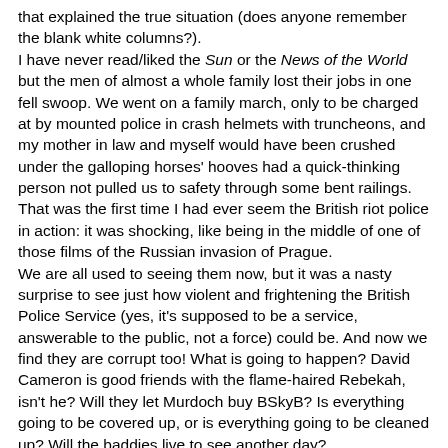that explained the true situation (does anyone remember the blank white columns?).
I have never read/liked the Sun or the News of the World but the men of almost a whole family lost their jobs in one fell swoop. We went on a family march, only to be charged at by mounted police in crash helmets with truncheons, and my mother in law and myself would have been crushed under the galloping horses' hooves had a quick-thinking person not pulled us to safety through some bent railings.
That was the first time I had ever seem the British riot police in action: it was shocking, like being in the middle of one of those films of the Russian invasion of Prague.
We are all used to seeing them now, but it was a nasty surprise to see just how violent and frightening the British Police Service (yes, it's supposed to be a service, answerable to the public, not a force) could be. And now we find they are corrupt too! What is going to happen? David Cameron is good friends with the flame-haired Rebekah, isn't he? Will they let Murdoch buy BSkyB? Is everything going to be covered up, or is everything going to be cleaned up? Will the baddies live to see another day?